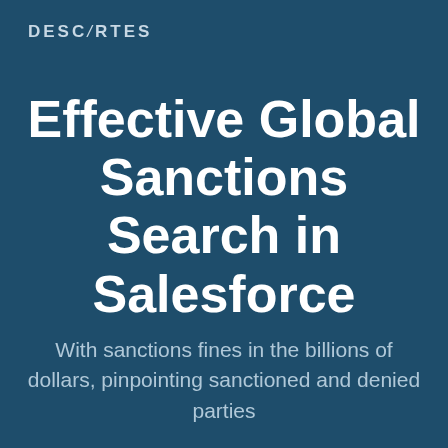[Figure (logo): Descartes company logo in light gray text on dark blue background]
Effective Global Sanctions Search in Salesforce
With sanctions fines in the billions of dollars, pinpointing sanctioned and denied parties